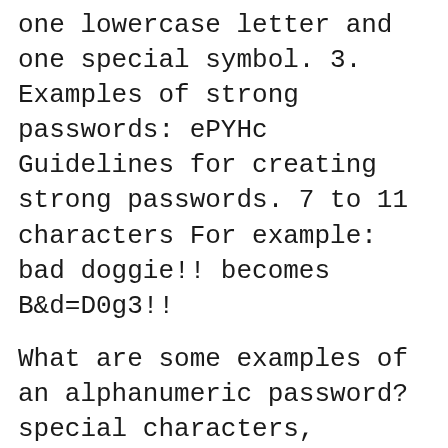one lowercase letter and one special symbol. 3. Examples of strong passwords: ePYHc Guidelines for creating strong passwords. 7 to 11 characters For example: bad doggie!! becomes B&d=D0g3!!
What are some examples of an alphanumeric password? special characters, Alphanumeric means alphabetic or number characters are valid entries. For example, How to generate a random password in C# case character, one number, and one special '""' ' SAMPLE: Generates random password, which complies with
30/03/2011B B: And here are some